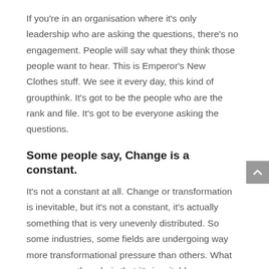If you're in an organisation where it's only leadership who are asking the questions, there's no engagement. People will say what they think those people want to hear. This is Emperor's New Clothes stuff. We see it every day, this kind of groupthink. It's got to be the people who are the rank and file. It's got to be everyone asking the questions.
Some people say, Change is a constant.
It's not a constant at all. Change or transformation is inevitable, but it's not a constant, it's actually something that is very unevenly distributed. So some industries, some fields are undergoing way more transformational pressure than others. What we can say, though, is that it's inevitable.
What are we all going to do about that? Some